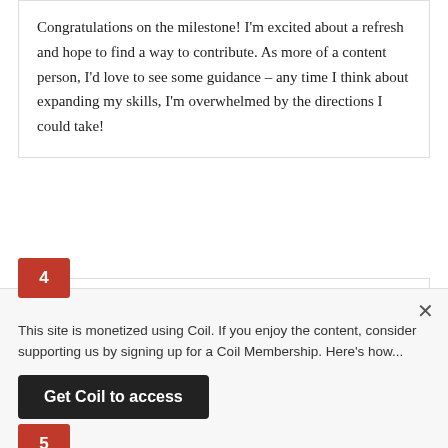Congratulations on the milestone! I'm excited about a refresh and hope to find a way to contribute. As more of a content person, I'd love to see some guidance – any time I think about expanding my skills, I'm overwhelmed by the directions I could take!
4
[Figure (photo): Circular avatar photo of Alessio Carone wearing a colorful hat]
Alessio Carone
September 8, 2017 at 7:31 am
Here to help, and I cannot believe that already 20 years has passed! Congratulations.
5
This site is monetized using Coil. If you enjoy the content, consider supporting us by signing up for a Coil Membership. Here's how...
Get Coil to access